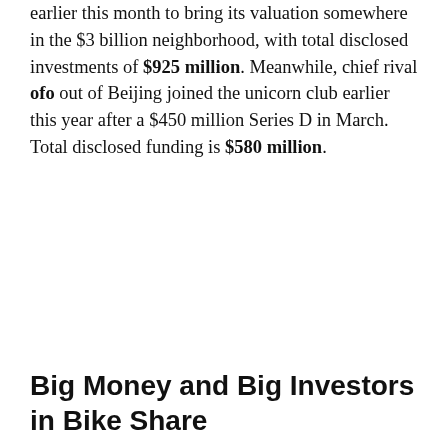earlier this month to bring its valuation somewhere in the $3 billion neighborhood, with total disclosed investments of $925 million. Meanwhile, chief rival ofo out of Beijing joined the unicorn club earlier this year after a $450 million Series D in March. Total disclosed funding is $580 million.
Big Money and Big Investors in Bike Share